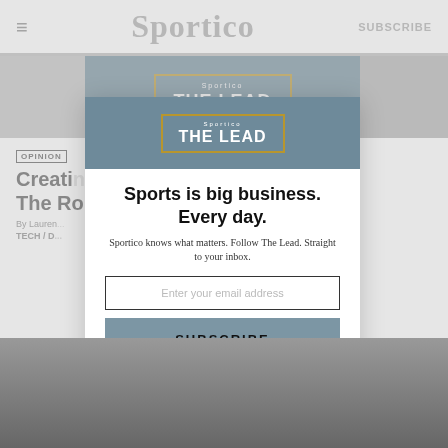≡   Sportico   SUBSCRIBE
[Figure (screenshot): Sportico 'The Lead' newsletter banner image showing sports imagery with a gold-bordered box containing 'Sportico THE LEAD' text]
OPINION
Creati... ...Vorld: The Ro...
By Lauren... TECH / D...
[Figure (screenshot): Sportico modal popup newsletter subscription dialog with headline 'Sports is big business. Every day.' subtext 'Sportico knows what matters. Follow The Lead. Straight to your inbox.' email input field, SUBSCRIBE button, and 'No, thank you.' link]
[Figure (photo): Black and white historical sports crowd photo at bottom of page]